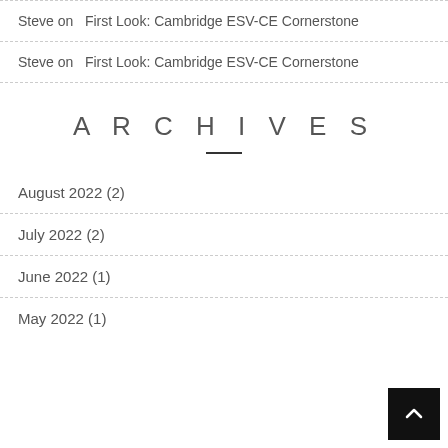Steve on  First Look: Cambridge ESV-CE Cornerstone
Steve on  First Look: Cambridge ESV-CE Cornerstone
ARCHIVES
August 2022 (2)
July 2022 (2)
June 2022 (1)
May 2022 (1)